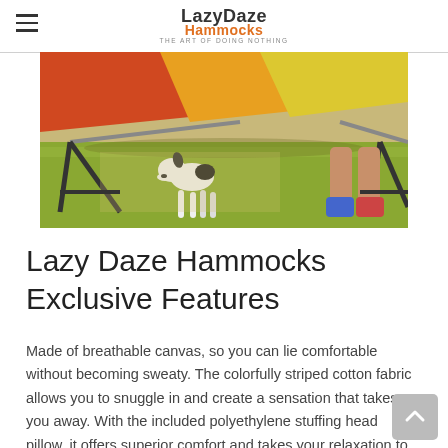LazyDaze Hammocks — THE ART OF DOING NOTHING
[Figure (photo): A dog standing under a colorful striped hammock on green grass, with a person's legs visible on the right side.]
Lazy Daze Hammocks Exclusive Features
Made of breathable canvas, so you can lie comfortable without becoming sweaty. The colorfully striped cotton fabric allows you to snuggle in and create a sensation that takes you away. With the included polyethylene stuffing head pillow, it offers superior comfort and takes your relaxation to a whole new level.